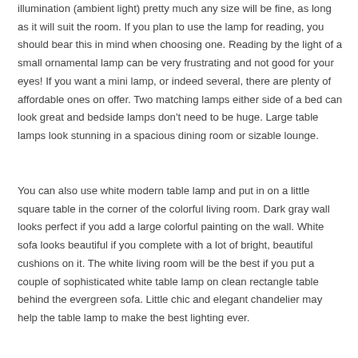illumination (ambient light) pretty much any size will be fine, as long as it will suit the room. If you plan to use the lamp for reading, you should bear this in mind when choosing one. Reading by the light of a small ornamental lamp can be very frustrating and not good for your eyes! If you want a mini lamp, or indeed several, there are plenty of affordable ones on offer. Two matching lamps either side of a bed can look great and bedside lamps don't need to be huge. Large table lamps look stunning in a spacious dining room or sizable lounge.
You can also use white modern table lamp and put in on a little square table in the corner of the colorful living room. Dark gray wall looks perfect if you add a large colorful painting on the wall. White sofa looks beautiful if you complete with a lot of bright, beautiful cushions on it. The white living room will be the best if you put a couple of sophisticated white table lamp on clean rectangle table behind the evergreen sofa. Little chic and elegant chandelier may help the table lamp to make the best lighting ever.